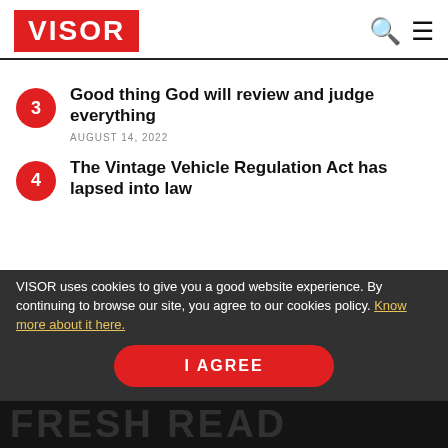VISOR
3 — Good thing God will review and judge everything — AUGUST 14, 2022
4 — The Vintage Vehicle Regulation Act has lapsed into law
VISOR uses cookies to give you a good website experience. By continuing to browse our site, you agree to our cookies policy. Know more about it here.
I AGREE
FRESH READ